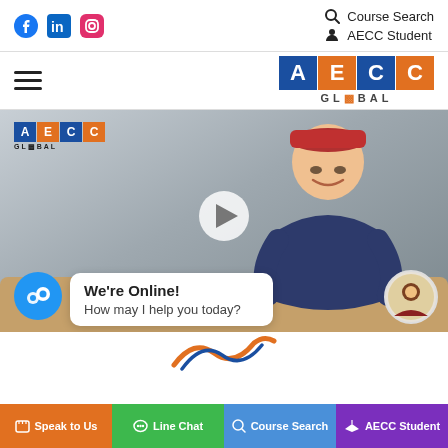Course Search | AECC Student | Facebook | LinkedIn | Instagram
[Figure (logo): AECC Global logo in navigation bar]
[Figure (screenshot): Video thumbnail of a young man sitting on a sofa with AECC Global logo overlay and a play button in the center. A chat popup says 'We're Online! How may I help you today?']
We're Online!
How may I help you today?
Speak to Us | Line Chat | Course Search | AECC Student